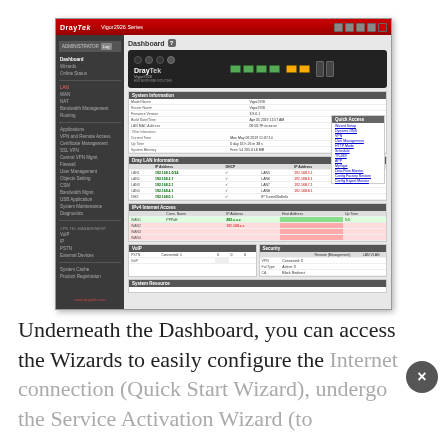[Figure (screenshot): DrayTek Vigor2926 router admin dashboard screenshot showing router hardware image, system information panels, LAN information, IPv4 Internet Access, VoIP status, Security status, and left navigation menu.]
Underneath the Dashboard, you can access the Wizards to easily configure the Internet connection (Quick Start Wizard), undergo the Service Activation Wizard (to